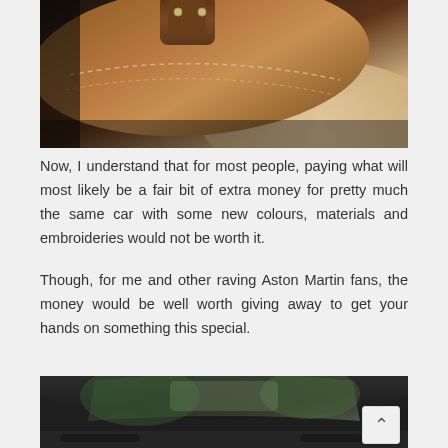[Figure (photo): Close-up photo of brown leather bag or car seat detail with stitching and metal hardware]
Now, I understand that for most people, paying what will most likely be a fair bit of extra money for pretty much the same car with some new colours, materials and embroideries would not be worth it.
Though, for me and other raving Aston Martin fans, the money would be well worth giving away to get your hands on something this special.
[Figure (photo): View from inside a car cockpit showing the dashboard and windshield with scenery visible through the glass]